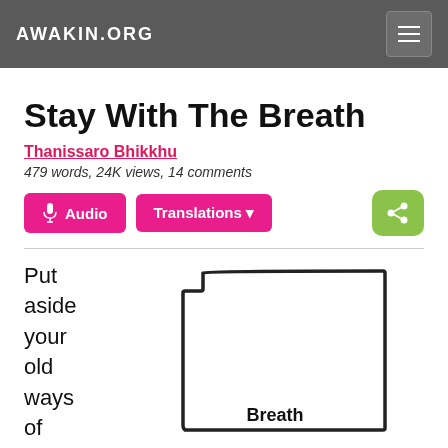AWAKIN.ORG
Stay With The Breath
Thanissaro Bhikkhu
479 words, 24K views, 14 comments
Put aside your old ways of
[Figure (illustration): A hand-drawn illustration of a frame with the word 'Breath' written at the bottom inside it]